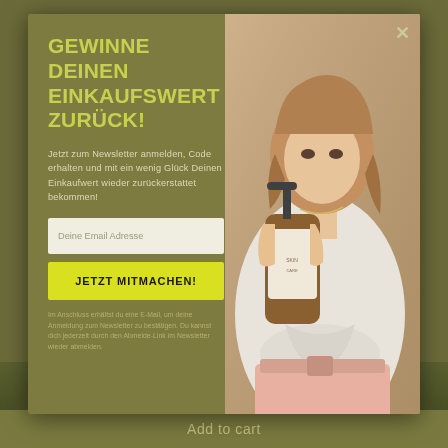GEWINNE DEINEN EINKAUFSWERT ZURÜCK!
Jetzt zum Newsletter anmelden, Code erhalten und mit ein wenig Glück Deinen Einkaufwert wieder zurückerstattet bekommen!
Deine Email Adresse
JETZT MITMACHEN!
Im Anschluss erhältst du eine E-Mail, um deine Anmeldung zum Newsletter zu bestätigen. Du kannst dich jederzeit durch den Abmelde-Link im Newsletter wieder abmelden.
[Figure (photo): Woman holding an amber glass pump bottle of skincare/beauty product, wearing white cropped top and pink pants]
Add to cart